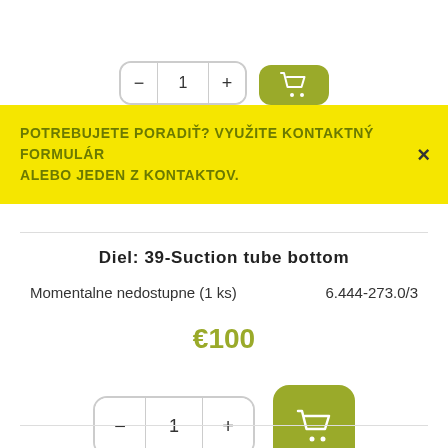[Figure (screenshot): Partial UI strip at top showing quantity selector controls and an olive/yellow cart button, partially cut off]
POTREBUJETE PORADIŤ? VYUŽITE KONTAKTNÝ FORMULÁR ALEBO JEDEN Z KONTAKTOV.
Diel: 39-Suction tube bottom
Momentalne nedostupne (1 ks)    6.444-273.0/3
€100
[Figure (screenshot): Quantity selector with minus button, value 1, plus button, and olive/yellow cart icon button]